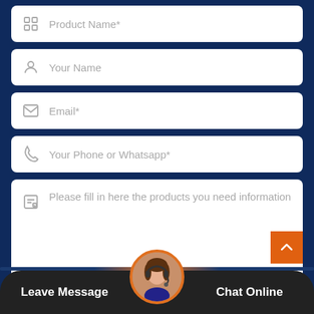[Figure (infographic): Web contact form UI with fields for Product Name, Your Name, Email, Your Phone or Whatsapp, and a message textarea, on a dark navy background. Bottom bar with Leave Message and Chat Online buttons, and a customer service avatar.]
Product Name*
Your Name
Email*
Your Phone or Whatsapp*
Please fill in here the products you need information
Leave Message
Chat Online